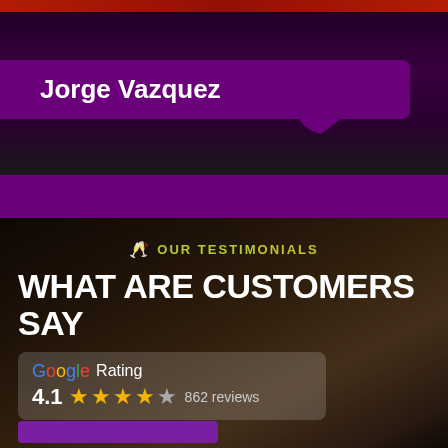[Figure (photo): Top section with purple background and photo of Jorge Vazquez with name banner]
Jorge Vazquez
[Figure (photo): Restaurant interior background image with dark overlay showing customers dining]
OUR TESTIMONIALS
WHAT ARE CUSTOMERS SAY
Google Rating 4.1 ★★★★☆ 862 reviews